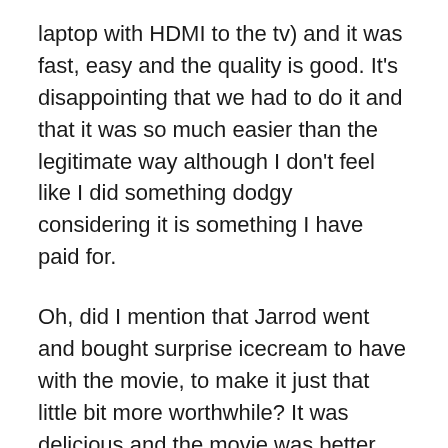laptop with HDMI to the tv) and it was fast, easy and the quality is good. It's disappointing that we had to do it and that it was so much easier than the legitimate way although I don't feel like I did something dodgy considering it is something I have paid for.
Oh, did I mention that Jarrod went and bought surprise icecream to have with the movie, to make it just that little bit more worthwhile? It was delicious and the movie was better than I was expecting, I was pretty scared leading up to it that it was just going to be terrible and endlessly disappointing. Fortunately, I was wrong.
Today, we had a spontaneous lunch (at 3:30) at a